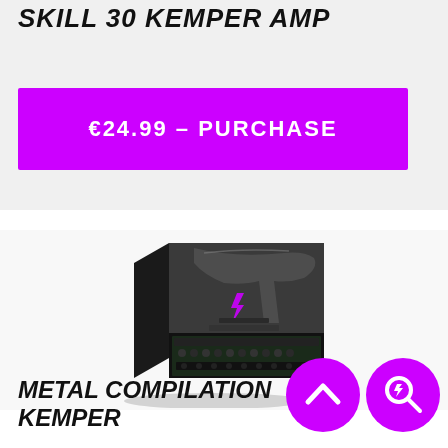SKILL 30 KEMPER AMP
€24.99 – PURCHASE
[Figure (photo): Product box packaging for Metal Compilation Kemper showing a guitar and Kemper amp rack unit with magenta logo]
METAL COMPILATION KEMPER